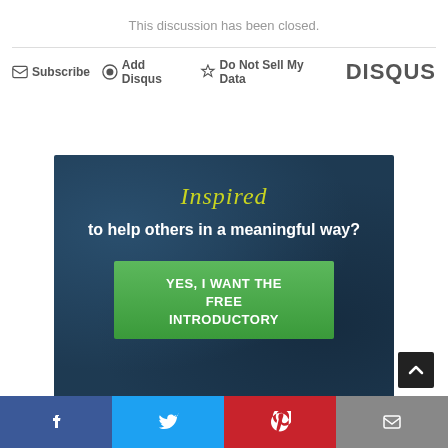This discussion has been closed.
Subscribe  Add Disqus  Do Not Sell My Data
DISQUS
[Figure (infographic): Dark blue textured banner with italic yellow-green 'Inspired' text, white bold text 'to help others in a meaningful way?', and a green call-to-action button 'YES, I WANT THE FREE INTRODUCTORY']
[Figure (infographic): Social share bar with Facebook (blue), Twitter (cyan), Pinterest (red), and Email (gray) buttons at the bottom of the page]